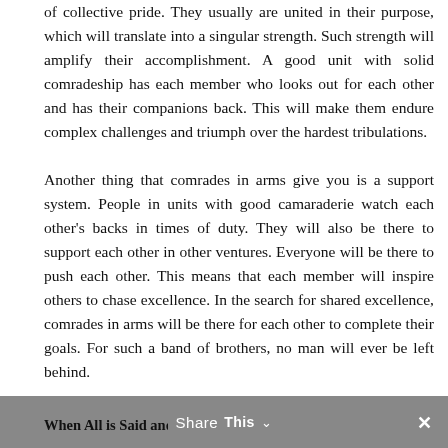of collective pride. They usually are united in their purpose, which will translate into a singular strength. Such strength will amplify their accomplishment. A good unit with solid comradeship has each member who looks out for each other and has their companions back. This will make them endure complex challenges and triumph over the hardest tribulations.
Another thing that comrades in arms give you is a support system. People in units with good camaraderie watch each other's backs in times of duty. They will also be there to support each other in other ventures. Everyone will be there to push each other. This means that each member will inspire others to chase excellence. In the search for shared excellence, comrades in arms will be there for each other to complete their goals. For such a band of brothers, no man will ever be left behind.
When All is Said and   Share This   ✕